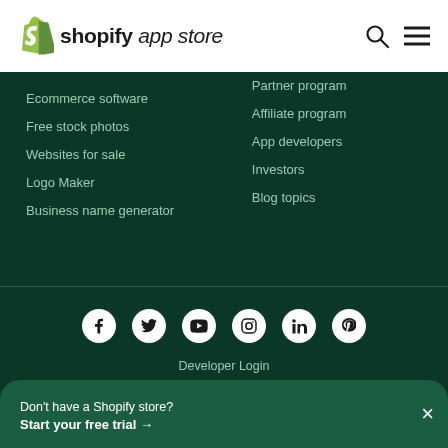Shopify App Store
Partner program
Ecommerce software
Affiliate program
Free stock photos
App developers
Websites for sale
Investors
Logo Maker
Blog topics
Business name generator
[Figure (other): Social media icons: Facebook, Twitter, YouTube, Instagram, LinkedIn, Pinterest]
Developer Login
Don't have a Shopify store? Start your free trial →
Privacy Policy